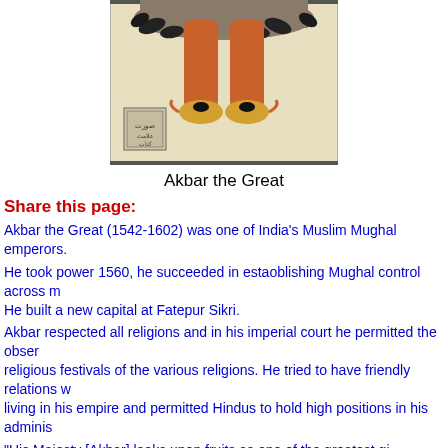[Figure (illustration): Mughal painting showing the lower body/legs of a figure in orange trousers and decorated shoes, with a calligraphy seal stamp in the lower left corner, on a beige/cream background]
Akbar the Great
Share this page:
Akbar the Great (1542-1602) was one of India's Muslim Mughal emperors.
He took power 1560, he succeeded in estaoblishing Mughal control across m... He built a new capital at Fatepur Sikri.
Akbar respected all religions and in his imperial court he permitted the obser... religious festivals of the various religions. He tried to have friendly relations w... living in his empire and permitted Hindus to hold high positions in his adminis...
"His Majesty [Akbar] looks upon fruits as one of the greatest gi... Creator, and pays much attention to them. The horticulturalists...